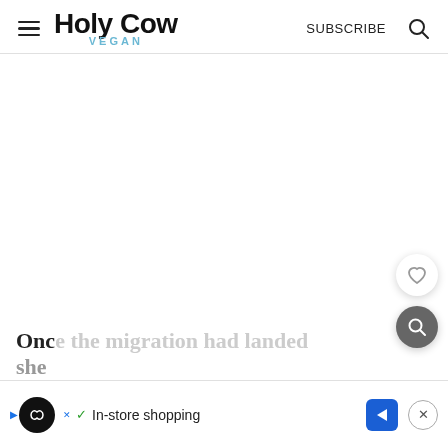Holy Cow Vegan — SUBSCRIBE
[Figure (screenshot): White blank content area of a webpage]
Once the migration had landed
she
[Figure (screenshot): Ad banner: play icon, black circle logo with infinity symbol, blue X, green checkmark, 'In-store shopping', blue navigation arrow icon, close X button]